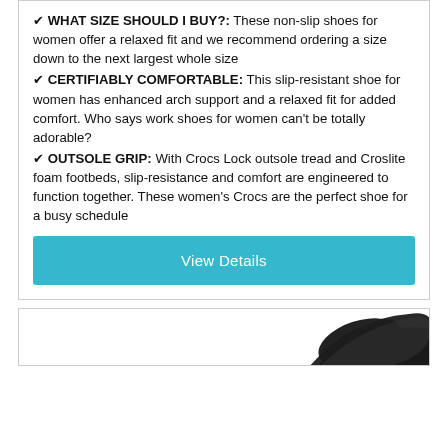✔ WHAT SIZE SHOULD I BUY?: These non-slip shoes for women offer a relaxed fit and we recommend ordering a size down to the next largest whole size
✔ CERTIFIABLY COMFORTABLE: This slip-resistant shoe for women has enhanced arch support and a relaxed fit for added comfort. Who says work shoes for women can't be totally adorable?
✔ OUTSOLE GRIP: With Crocs Lock outsole tread and Croslite foam footbeds, slip-resistance and comfort are engineered to function together. These women's Crocs are the perfect shoe for a busy schedule
View Details
[Figure (photo): Partial view of a black Crocs shoe seen from above/side, on a white background]